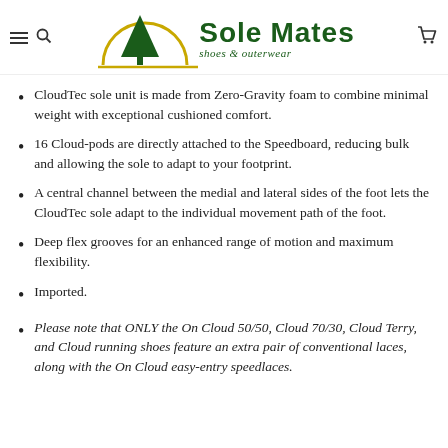Sole Mates shoes & outerwear
CloudTec sole unit is made from Zero-Gravity foam to combine minimal weight with exceptional cushioned comfort.
16 Cloud-pods are directly attached to the Speedboard, reducing bulk and allowing the sole to adapt to your footprint.
A central channel between the medial and lateral sides of the foot lets the CloudTec sole adapt to the individual movement path of the foot.
Deep flex grooves for an enhanced range of motion and maximum flexibility.
Imported.
Please note that ONLY the On Cloud 50/50, Cloud 70/30, Cloud Terry, and Cloud running shoes feature an extra pair of conventional laces, along with the On Cloud easy-entry speedlaces.